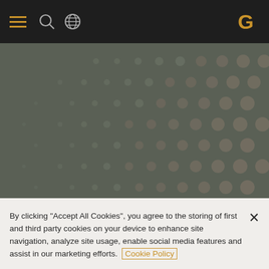Navigation bar with hamburger menu, search icon, globe icon, and G logo
[Figure (screenshot): Dark olive/grey hero background with hexagonal dot pattern overlay]
Alert
By clicking "Accept All Cookies", you agree to the storing of first and third party cookies on your device to enhance site navigation, analyze site usage, enable social media features and assist in our marketing efforts. Cookie Policy
Cookies Settings
Reject All